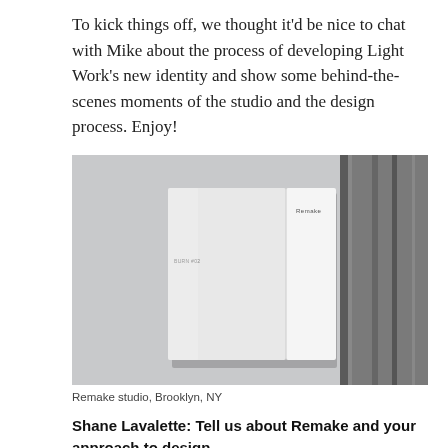To kick things off, we thought it'd be nice to chat with Mike about the process of developing Light Work's new identity and show some behind-the-scenes moments of the studio and the design process. Enjoy!
[Figure (photo): A white rectangular sign or panel mounted on a light grey wall next to a dark grey textured concrete column. The sign appears to be a printed booklet or card with small text reading 'Remake' at the top right and additional small text on the left side.]
Remake studio, Brooklyn, NY
Shane Lavalette: Tell us about Remake and your approach to design.